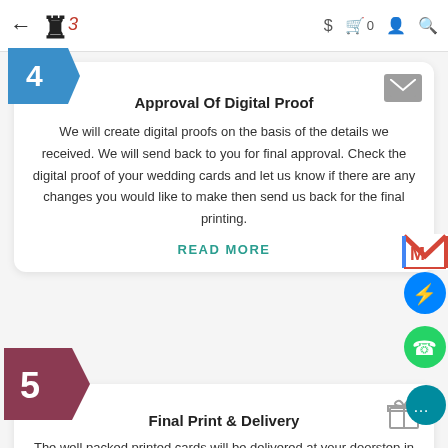← [Logo] $ 🛍 0 👤 🔍
Approval Of Digital Proof
We will create digital proofs on the basis of the details we received. We will send back to you for final approval. Check the digital proof of your wedding cards and let us know if there are any changes you would like to make then send us back for the final printing.
READ MORE
Final Print & Delivery
The well packed printed cards will be delivered at your doorstep in